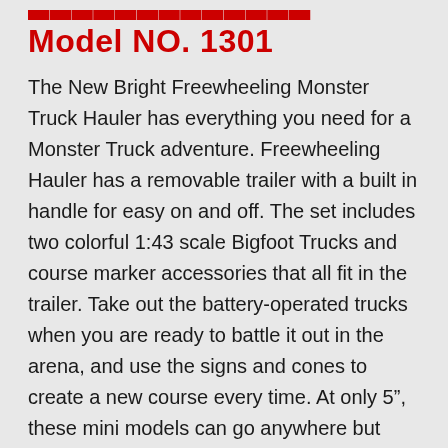Model NO. 1301
The New Bright Freewheeling Monster Truck Hauler has everything you need for a Monster Truck adventure. Freewheeling Hauler has a removable trailer with a built in handle for easy on and off. The set includes two colorful 1:43 scale Bigfoot Trucks and course marker accessories that all fit in the trailer. Take out the battery-operated trucks when you are ready to battle it out in the arena, and use the signs and cones to create a new course every time. At only 5", these mini models can go anywhere but look every bit as fearsome as the real thing. The Freewheeling Monster